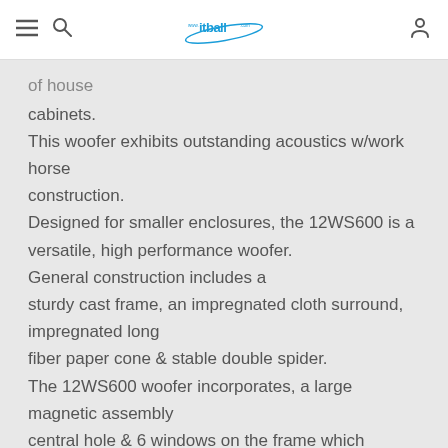www.itball.com
cabinets.
This woofer exhibits outstanding acoustics w/work horse construction.
Designed for smaller enclosures, the 12WS600 is a versatile, high performance woofer.
General construction includes a sturdy cast frame, an impregnated cloth surround, impregnated long fiber paper cone & stable double spider.
The 12WS600 woofer incorporates, a large magnetic assembly central hole & 6 windows on the frame which increases heat dissipation & reduces operating temperature